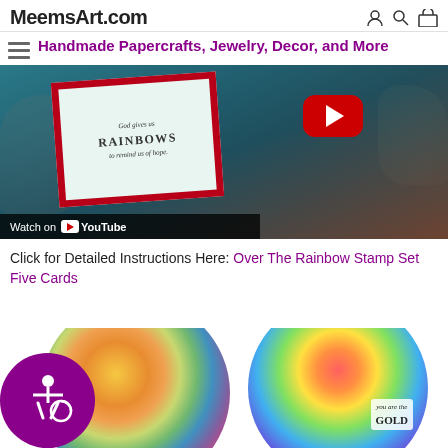MeemsArt.com
Handmade Papercrafts, Jewelry, Decor, and More
[Figure (screenshot): YouTube video thumbnail showing hands holding a handmade card with a red border, text reading 'God gives us RAINBOWS to remind us of hope.' A YouTube play button is overlaid. A 'Watch on YouTube' bar appears at the bottom.]
Click for Detailed Instructions Here: Over The Rainbow Stamp Set Five Cards
[Figure (photo): Two circular cropped photos side by side at bottom. Left: colorful floral paper craft with lace details. Right: rainbow-colored circle with text 'you are the GOLD'.]